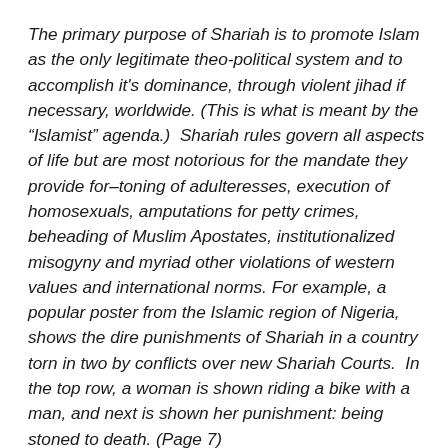The primary purpose of Shariah is to promote Islam as the only legitimate theo-political system and to accomplish it's dominance, through violent jihad if necessary, worldwide. (This is what is meant by the “Islamist” agenda.)  Shariah rules govern all aspects of life but are most notorious for the mandate they provide for–toning of adulteresses, execution of homosexuals, amputations for petty crimes, beheading of Muslim Apostates, institutionalized misogyny and myriad other violations of western values and international norms. For example, a popular poster from the Islamic region of Nigeria, shows the dire punishments of Shariah in a country torn in two by conflicts over new Shariah Courts.  In the top row, a woman is shown riding a bike with a man, and next is shown her punishment: being stoned to death. (Page 7)